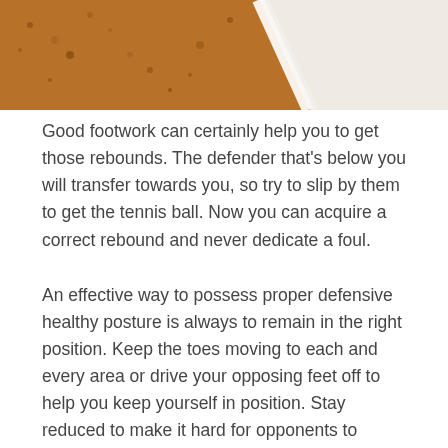[Figure (photo): Close-up photo of clay/soil court surface with a white line, showing brown textured dirt and a white boundary line in the upper right area.]
Good footwork can certainly help you to get those rebounds. The defender that's below you will transfer towards you, so try to slip by them to get the tennis ball. Now you can acquire a correct rebound and never dedicate a foul.
An effective way to possess proper defensive healthy posture is always to remain in the right position. Keep the toes moving to each and every area or drive your opposing feet off to help you keep yourself in position. Stay reduced to make it hard for opponents to obtain around you.
In order to mix up the offense, try out changing your tempo. As you run to the internet, plant your front side foot and start to straighten up. The offense will feel that you're preventing or slowing down and could follow inside your methods. While